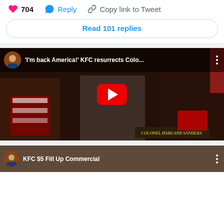❤ 704  💬 Reply  🔗 Copy link to Tweet
Read 101 replies
[Figure (screenshot): YouTube video thumbnail showing KFC Colonel Sanders commercial titled 'I'm back America!' KFC resurrects Colo... with a play button overlay. Scene shows man in white suit at a desk with KFC bucket and name plate reading 'Colonel Harland Sanders'.]
[Figure (screenshot): Second YouTube video thumbnail partially visible at bottom, showing 'KFC $5 Fill Up Commercial']